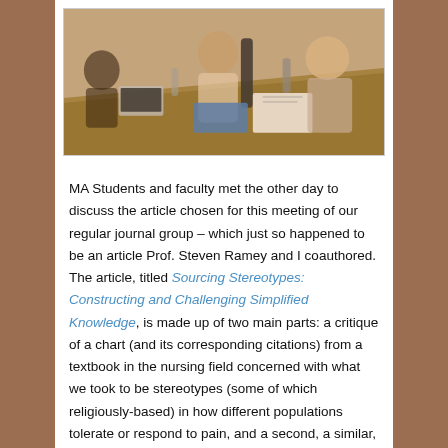[Figure (photo): Photo of MA students and faculty seated around a table in a meeting room, with laptops and papers visible.]
MA Students and faculty met the other day to discuss the article chosen for this meeting of our regular journal group – which just so happened to be an article Prof. Steven Ramey and I coauthored. The article, titled Sourcing Stereotypes: Constructing and Challenging Simplified Knowledge, is made up of two main parts: a critique of a chart (and its corresponding citations) from a textbook in the nursing field concerned with what we took to be stereotypes (some of which religiously-based) in how different populations tolerate or respond to pain, and a second, a similar, though perhaps less obvious, part which was a critique of textbook presentations of groups in the field of religious studies. While having both authors in the room certainly played a role in how the article was examined, the enthusiasm of the group of people present for the discussion—and the care it took in the...